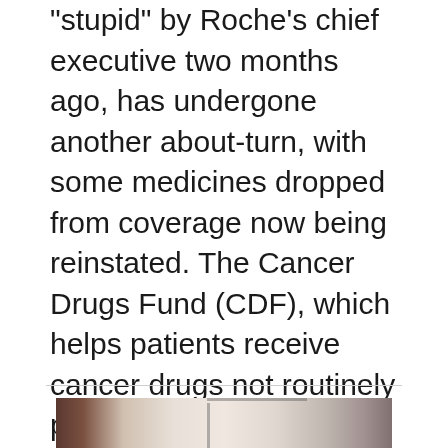"stupid" by Roche's chief executive two months ago, has undergone another about-turn, with some medicines dropped from coverage now being reinstated. The Cancer Drugs Fund (CDF), which helps patients receive cancer drugs not routinely paid for by the National Health Service (NHS), said on Wednesday that some drugs would remain available after further price negotiations with manufacturers. “It's great news that some drugs
[Figure (photo): Partially visible photograph showing what appears to be a building interior or exterior with a window frame visible and blurred background elements in muted tones of brown, beige and grey.]